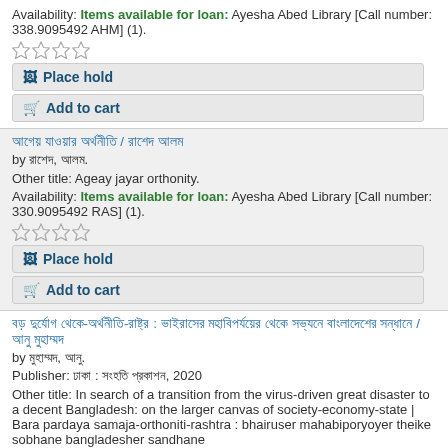Availability: Items available for loan: Ayesha Abed Library [Call number: 338.9095492 AHM] (1).
[Figure (other): Star rating widget, 4 empty stars]
Place hold
Add to cart
আগেয় যাওয়ার অর্থনীতি / রাশেদ আলম
by রাশেদ, আলম.
Other title: Ageay jayar orthonity.
Availability: Items available for loan: Ayesha Abed Library [Call number: 330.9095492 RAS] (1).
[Figure (other): Star rating widget, 4 empty stars]
Place hold
Add to cart
বড় দুর্যোগ থেকে-অর্থনীতি-রাষ্ট্র : সমাজতান্ত্রিক উত্তরণের সন্ধানে বাংলাদেশের প্রেক্ষাপটে / আনু মুহাম্মদ
by মুহাম্মদ, আনু.
Publisher: ঢাকা : সংহতি প্রকাশন, 2020
Other title: In search of a transition from the virus-driven great disaster to a decent Bangladesh: on the larger canvas of society-economy-state | Bara pardaya samaja-orthoniti-rashtra : bhairuser mahabiporyoyer theike sobhane bangladesher sandhane